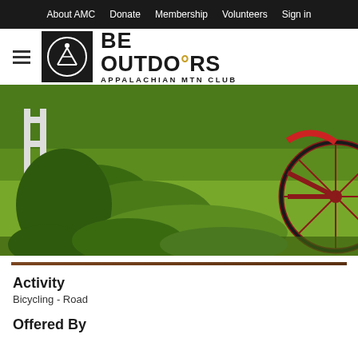About AMC   Donate   Membership   Volunteers   Sign in
[Figure (logo): BE OUTDOORS APPALACHIAN MTN CLUB logo with circular AMC icon on black square background]
[Figure (photo): A red vintage bicycle leaning against a white fence surrounded by lush green grass and plants]
Activity
Bicycling - Road
Offered By